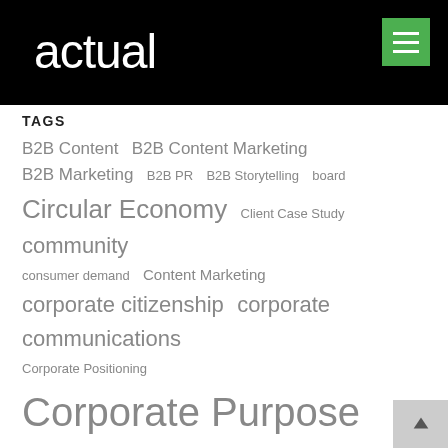actual
TAGS
B2B Content  B2B Content Marketing  B2B Marketing  B2B PR  B2B Storytelling  board  Circular Economy  Client Case Study  community  consumer demand  Content Marketing  corporate citizenship  corporate communications  Corporate Positioning  Corporate Purpose  Corporate responsibility  corporate social responsibility  COVID-19  Crisis Communications  Crisis PR  DEI  developing world  Diversity and Inclusion  Employee activism  Environment  ESG  Executive Visibility  Featured  Financial Services  Fintech